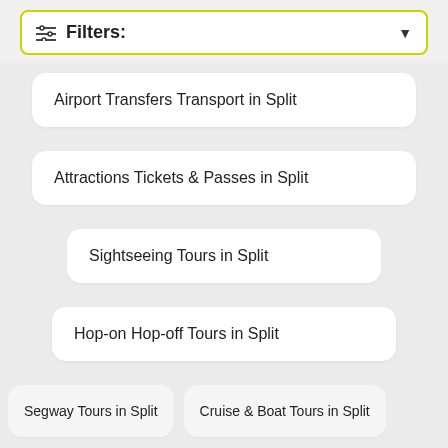Filters:
Airport Transfers Transport in Split
Attractions Tickets & Passes in Split
Sightseeing Tours in Split
Hop-on Hop-off Tours in Split
Segway Tours in Split
Cruise & Boat Tours in Split